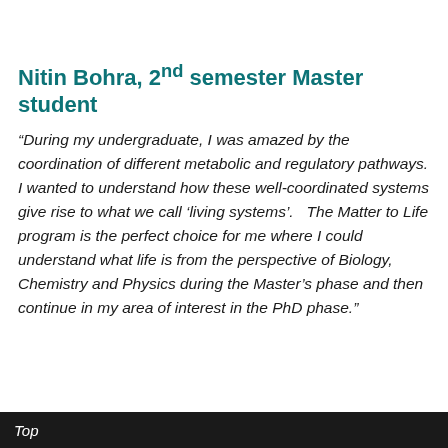Nitin Bohra, 2nd semester Master student
“During my undergraduate, I was amazed by the coordination of different metabolic and regulatory pathways. I wanted to understand how these well-coordinated systems give rise to what we call ‘living systems’.   The Matter to Life program is the perfect choice for me where I could understand what life is from the perspective of Biology, Chemistry and Physics during the Master’s phase and then continue in my area of interest in the PhD phase.”
Top